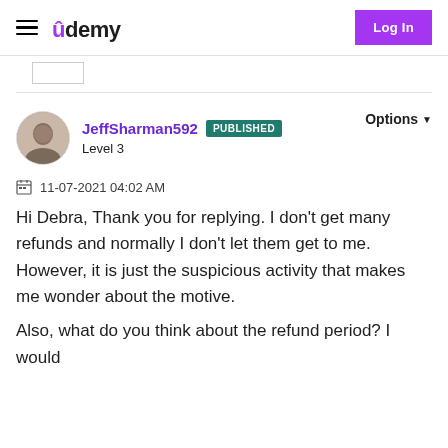Udemy — Log In
[Figure (screenshot): Udemy website header with hamburger menu, Udemy logo, and Log In button]
JeffSharman592 PUBLISHED
Level 3
11-07-2021 04:02 AM
Hi Debra, Thank you for replying. I don't get many refunds and normally I don't let them get to me. However, it is just the suspicious activity that makes me wonder about the motive.
Also, what do you think about the refund period? I would